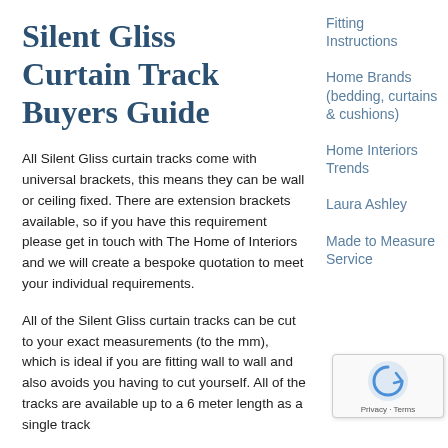Silent Gliss Curtain Track Buyers Guide
All Silent Gliss curtain tracks come with universal brackets, this means they can be wall or ceiling fixed. There are extension brackets available, so if you have this requirement please get in touch with The Home of Interiors and we will create a bespoke quotation to meet your individual requirements.
All of the Silent Gliss curtain tracks can be cut to your exact measurements (to the mm), which is ideal if you are fitting wall to wall and also avoids you having to cut yourself. All of the tracks are available up to a 6 meter length as a single track
Fitting Instructions
Home Brands (bedding, curtains & cushions)
Home Interiors Trends
Laura Ashley
Made to Measure Service